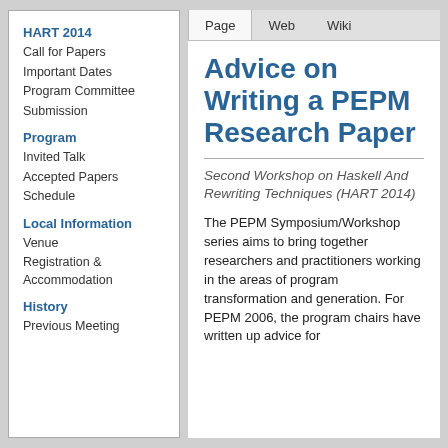HART 2014
Call for Papers
Important Dates
Program Committee
Submission
Program
Invited Talk
Accepted Papers
Schedule
Local Information
Venue
Registration & Accommodation
History
Previous Meeting
Page   Web   Wiki
Advice on Writing a PEPM Research Paper
Second Workshop on Haskell And Rewriting Techniques (HART 2014)
The PEPM Symposium/Workshop series aims to bring together researchers and practitioners working in the areas of program transformation and generation. For PEPM 2006, the program chairs have written up advice for